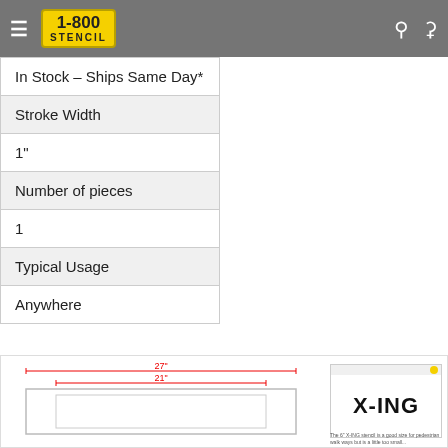1-800 STENCIL
| In Stock – Ships Same Day* |
| Stroke Width |
| 1" |
| Number of pieces |
| 1 |
| Typical Usage |
| Anywhere |
[Figure (engineering-diagram): Stencil dimension diagram showing 27" outer width and 21" inner width with a rectangular stencil outline. A thumbnail preview shows X-ING text on a white background stencil.]